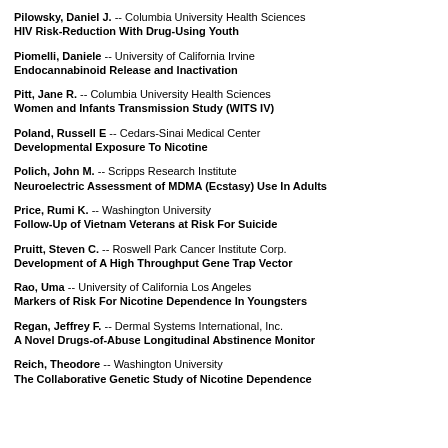Pilowsky, Daniel J. -- Columbia University Health Sciences
HIV Risk-Reduction With Drug-Using Youth
Piomelli, Daniele -- University of California Irvine
Endocannabinoid Release and Inactivation
Pitt, Jane R. -- Columbia University Health Sciences
Women and Infants Transmission Study (WITS IV)
Poland, Russell E -- Cedars-Sinai Medical Center
Developmental Exposure To Nicotine
Polich, John M. -- Scripps Research Institute
Neuroelectric Assessment of MDMA (Ecstasy) Use In Adults
Price, Rumi K. -- Washington University
Follow-Up of Vietnam Veterans at Risk For Suicide
Pruitt, Steven C. -- Roswell Park Cancer Institute Corp.
Development of A High Throughput Gene Trap Vector
Rao, Uma -- University of California Los Angeles
Markers of Risk For Nicotine Dependence In Youngsters
Regan, Jeffrey F. -- Dermal Systems International, Inc.
A Novel Drugs-of-Abuse Longitudinal Abstinence Monitor
Reich, Theodore -- Washington University
The Collaborative Genetic Study of Nicotine Dependence